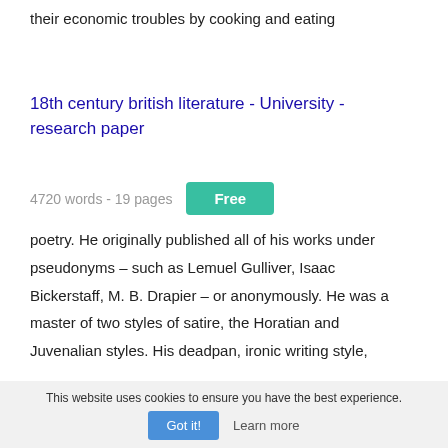their economic troubles by cooking and eating
18th century british literature - University - research paper
4720 words - 19 pages   Free
poetry. He originally published all of his works under pseudonyms – such as Lemuel Gulliver, Isaac Bickerstaff, M. B. Drapier – or anonymously. He was a master of two styles of satire, the Horatian and Juvenalian styles. His deadpan, ironic writing style,
This website uses cookies to ensure you have the best experience.
Got it!   Learn more